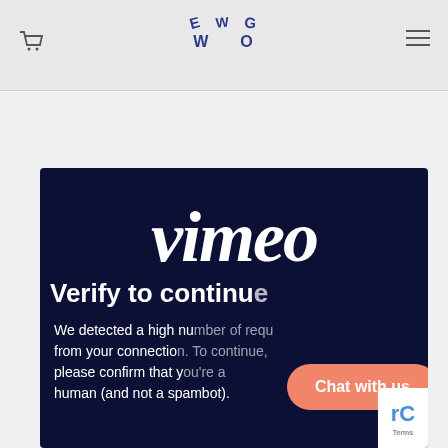[Figure (logo): WeGo website header with cart icon on left, WeGo logo in center (letters arranged in arc), hamburger menu on right]
[Figure (screenshot): Vimeo verification page overlay on dark navy background showing Vimeo logo, 'Verify to continue' heading, and body text about high number of requests from connection asking to confirm human (not spambot)]
We detected a high number of requests from your connection. To continue, please confirm that you're a human (and not a spambot).